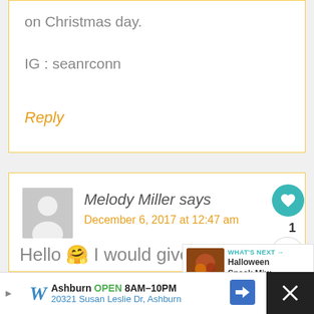on Christmas day.
IG : seanrconn
Reply
Melody Miller says
December 6, 2017 at 12:47 am
Hello 🤗 I would give this,
patrol toy to my nephews for
WHAT'S NEXT → Halloween Snack Mix:....
Ashburn OPEN 8AM–10PM 20321 Susan Leslie Dr, Ashburn